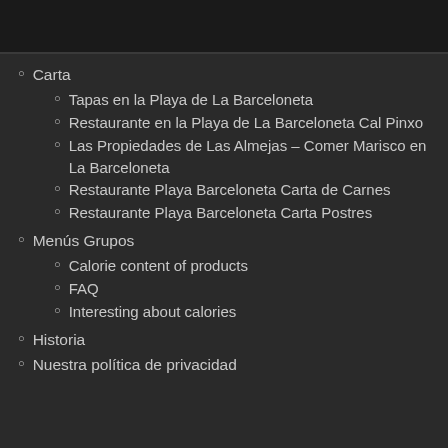Carta
Tapas en la Playa de La Barceloneta
Restaurante en la Playa de La Barceloneta Cal Pinxo
Las Propiedades de Las Almejas – Comer Marisco en La Barceloneta
Restaurante Playa Barceloneta Carta de Carnes
Restaurante Playa Barceloneta Carta Postres
Menús Grupos
Calorie content of products
FAQ
Interesting about calories
Historia
Nuestra política de privacidad